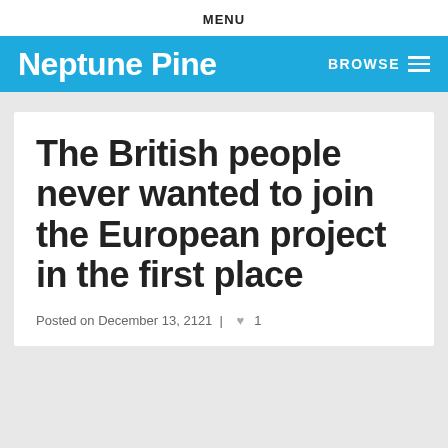MENU
Neptune Pine
BROWSE
The British people never wanted to join the European project in the first place
Posted on December 13, 2121 | ♥ 1